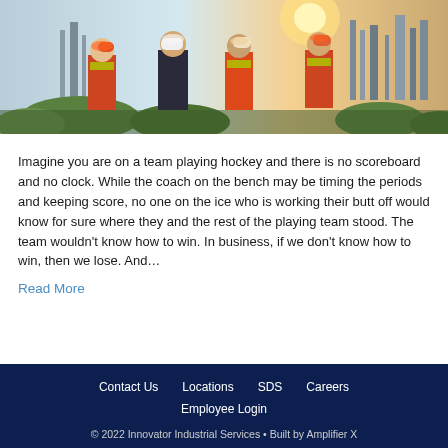[Figure (photo): Industrial workers in orange safety vests and hard hats standing at an oil refinery or chemical plant, viewed from behind, with industrial structures and greenery in background]
Imagine you are on a team playing hockey and there is no scoreboard and no clock. While the coach on the bench may be timing the periods and keeping score, no one on the ice who is working their butt off would know for sure where they and the rest of the playing team stood. The team wouldn't know how to win. In business, if we don't know how to win, then we lose. And…
Read More
Contact Us   Locations   SDS   Careers   Employee Login   © 2022 Innovator Industrial Services • Built by Amplifier X